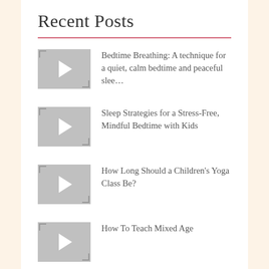Recent Posts
Bedtime Breathing: A technique for a quiet, calm bedtime and peaceful slee…
Sleep Strategies for a Stress-Free, Mindful Bedtime with Kids
How Long Should a Children's Yoga Class Be?
How To Teach Mixed Age